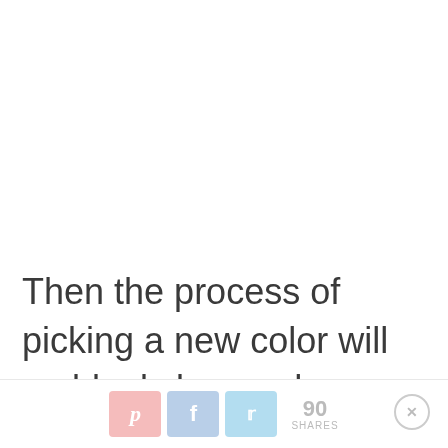Then the process of picking a new color will suddenly be much more simple, and you'll be thrilled with your
90 SHARES